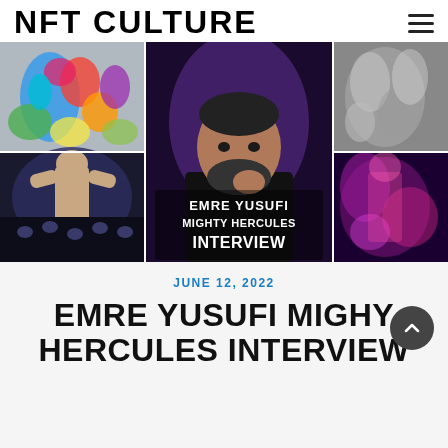NFT CULTURE
[Figure (photo): Composite image collage: top-left colorful abstract figure, center a bearded man in black shirt with text 'EMRE YUSUFI MIGHTY HERCULES INTERVIEW', bottom-left muscular figure at competition, top-right and bottom-right abstract purple/grey smoke/sculpture art images.]
JUNE 12, 2022
EMRE YUSUFI MIGHY HERCULES INTERVIEW